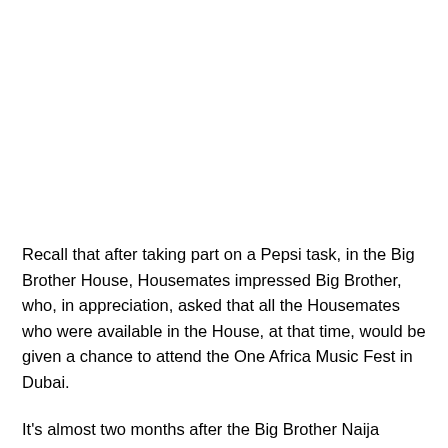Recall that after taking part on a Pepsi task, in the Big Brother House, Housemates impressed Big Brother, who, in appreciation, asked that all the Housemates who were available in the House, at that time, would be given a chance to attend the One Africa Music Fest in Dubai.
It's almost two months after the Big Brother Naija season 6 Shine Ya Eye show, the qualified Shine Ya Eye stars have been taken to Dubai, on Tuesday and Wednesday, November 23